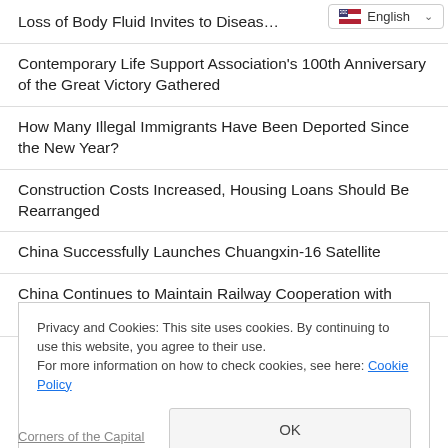Loss of Body Fluid Invites to Diseas…
Contemporary Life Support Association's 100th Anniversary of the Great Victory Gathered
How Many Illegal Immigrants Have Been Deported Since the New Year?
Construction Costs Increased, Housing Loans Should Be Rearranged
China Successfully Launches Chuangxin-16 Satellite
China Continues to Maintain Railway Cooperation with Many Countries
Privacy and Cookies: This site uses cookies. By continuing to use this website, you agree to their use.
For more information on how to check cookies, see here: Cookie Policy
Corners of the Capital